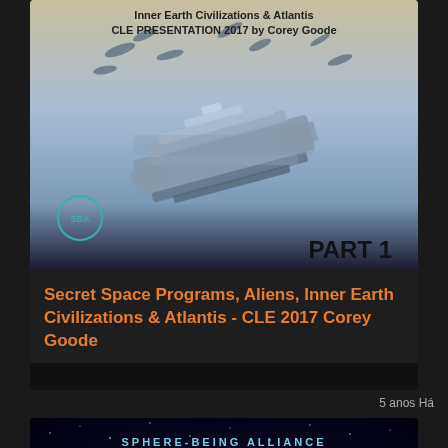[Figure (screenshot): Video thumbnail showing futuristic space carrier/ship with text 'Inner Earth Civilizations & Atlantis CLE PRESENTATION 2017 by Corey Goode' and 'PART 1', with SBA logo]
Secret Space Programs, Aliens, Inner Earth Civilizations & Atlantis - CLE 2017 Corey Goode
5 anos Há
[Figure (screenshot): Video thumbnail with space background showing SPHERE-BEING ALLIANCE, Corey Goode & David Wilcock, Full Disclosure, Cabal Defeat, Ancient Aliens & Inner Earth, with alien figure and spaceships]